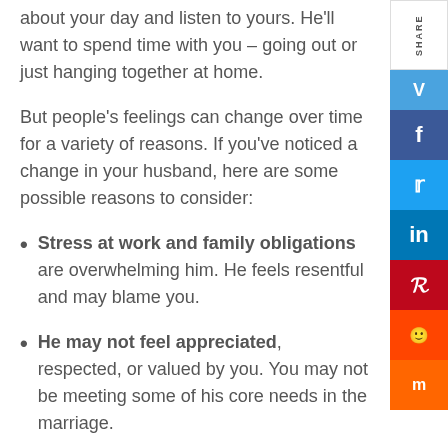about your day and listen to yours. He'll want to spend time with you – going out or just hanging together at home.
But people's feelings can change over time for a variety of reasons. If you've noticed a change in your husband, here are some possible reasons to consider:
Stress at work and family obligations are overwhelming him. He feels resentful and may blame you.
He may not feel appreciated, respected, or valued by you. You may not be meeting some of his core needs in the marriage.
He has met someone else and has fallen in love with her.
You've simply grown apart in your interests and...